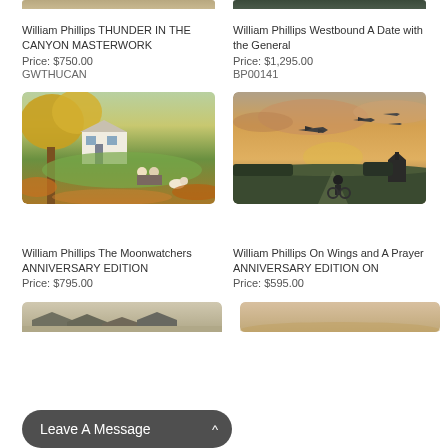[Figure (photo): Partial top of left product image (cut off at top of page)]
[Figure (photo): Partial top of right product image - dark green/nature scene (cut off at top of page)]
William Phillips THUNDER IN THE CANYON MASTERWORK
Price: $750.00
GWTHUCAN
William Phillips Westbound A Date with the General
Price: $1,295.00
BP00141
[Figure (photo): Autumn scene painting: house with large trees in fall foliage, two figures on bench, dog, pastoral landscape]
[Figure (photo): WWII era painting: Spitfire planes flying in sunset sky, figure on bicycle on rural road below, church in background]
William Phillips The Moonwatchers ANNIVERSARY EDITION
Price: $795.00
William Phillips On Wings and A Prayer ANNIVERSARY EDITION ON
Price: $595.00
[Figure (photo): Partial bottom image left - landscape painting (cut off)]
[Figure (photo): Partial bottom image right - warm toned landscape painting (cut off)]
Leave A Message ^